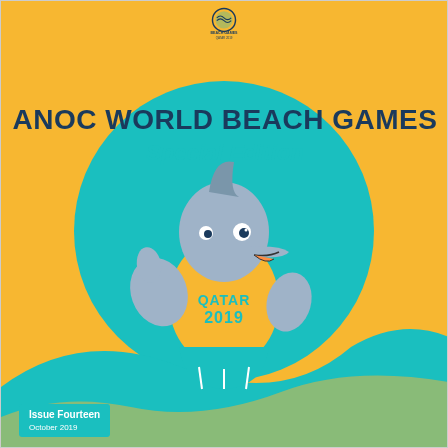[Figure (logo): ANOC World Beach Games Qatar 2019 official logo at top center]
ANOC WORLD BEACH GAMES
Special Edition
[Figure (illustration): Cartoon dolphin mascot in a yellow Qatar 2019 t-shirt and teal shorts, giving a thumbs up, standing in front of a large teal circle with a wave motif]
Issue Fourteen
October 2019